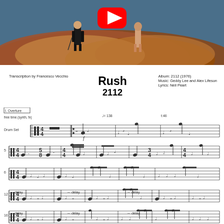[Figure (photo): Album artwork for Rush 2112 showing surrealist painting with figures, with YouTube play button overlay]
Transcription by Francesco Vecchio
Album: 2112 (1976)
Music: Geddy Lee and Alex Lifeson
Lyrics: Neil Peart
Rush
2112
[Figure (other): Drum sheet music for Rush 2112 - I. Overture, showing multiple bars of percussion notation with time signatures, dynamic markings, tempo markings (♩=138, t:46), delay markings, and multiple lines of drum set notation]